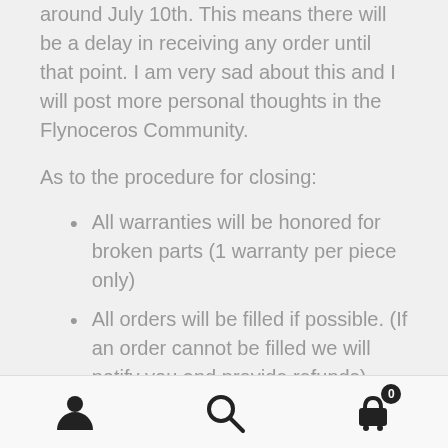around July 10th. This means there will be a delay in receiving any order until that point. I am very sad about this and I will post more personal thoughts in the Flynoceros Community.
As to the procedure for closing:
All warranties will be honored for broken parts (1 warranty per piece only)
All orders will be filled if possible. (If an order cannot be filled we will notify you and provide refunds)
All orders will contain lots of extras. Anything we have in our shop must be
Navigation bar with user, search, and cart (0) icons